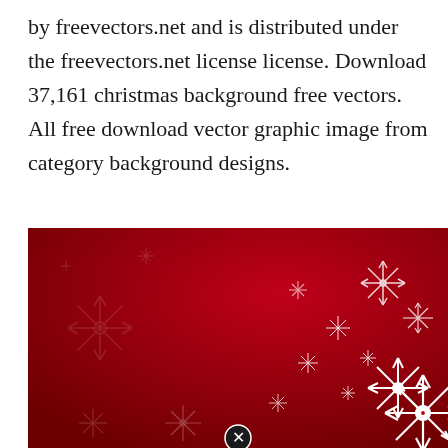by freevectors.net and is distributed under the freevectors.net license license. Download 37,161 christmas background free vectors. All free download vector graphic image from category background designs.
[Figure (illustration): A red Christmas background with white snowflakes of varying sizes scattered across the image, more densely concentrated in the lower right corner. The background has a dark red gradient. A small close/cancel button (circled X) is visible near the bottom center.]